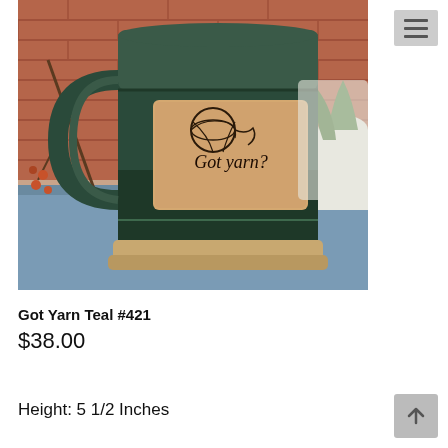[Figure (photo): A dark teal/green ceramic mug with a rustic handle, featuring a tan rectangular label with a yarn ball illustration and the text 'Got yarn?' in script font. The mug sits on a wooden surface with brick wall and plants in the background.]
Got Yarn Teal #421
$38.00
Height: 5 1/2 Inches